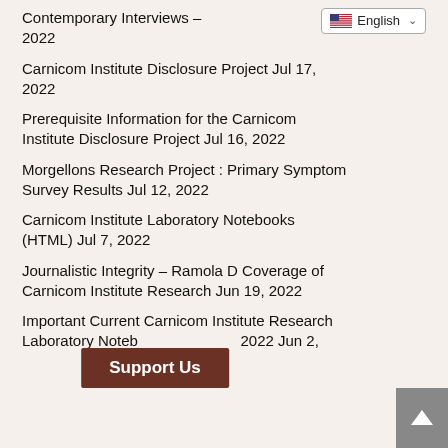Contemporary Interviews – 2022
Carnicom Institute Disclosure Project Jul 17, 2022
Prerequisite Information for the Carnicom Institute Disclosure Project Jul 16, 2022
Morgellons Research Project : Primary Symptom Survey Results Jul 12, 2022
Carnicom Institute Laboratory Notebooks (HTML) Jul 7, 2022
Journalistic Integrity – Ramola D Coverage of Carnicom Institute Research Jun 19, 2022
Important Current Carnicom Institute Research Laboratory Notebooks 2022 Jun 2,